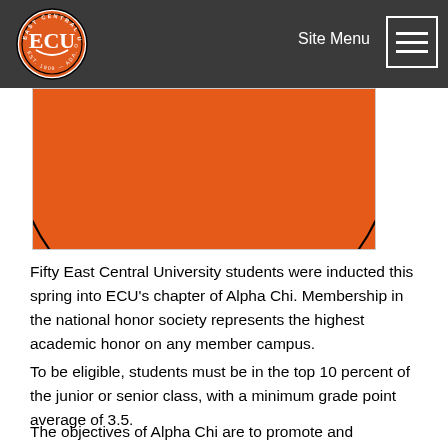Site Menu
[Figure (logo): East Central University (ECU) seal logo — circular seal with red/orange background, white ECU lettering, Est. 1909 Ada, Oklahoma text around the border]
Fifty East Central University students were inducted this spring into ECU's chapter of Alpha Chi. Membership in the national honor society represents the highest academic honor on any member campus.
To be eligible, students must be in the top 10 percent of the junior or senior class, with a minimum grade point average of 3.5.
The objectives of Alpha Chi are to promote and recognize superior scholarship and those elements of character that make scholarship effective for service. The society, founded in 1922, has about 300 chapters in 45 states, the District of Columbia and